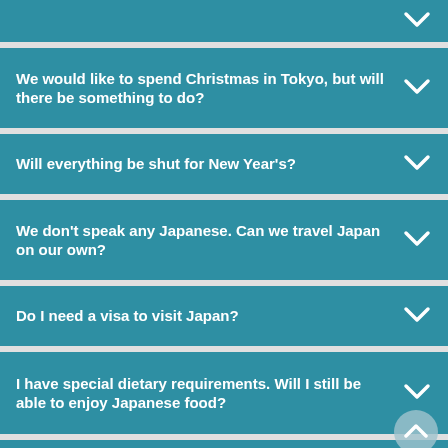We would like to spend Christmas in Tokyo, but will there be something to do?
Will everything be shut for New Year's?
We don't speak any Japanese. Can we travel Japan on our own?
Do I need a visa to visit Japan?
I have special dietary requirements. Will I still be able to enjoy Japanese food?
Should I take a suitcase or a backpack?